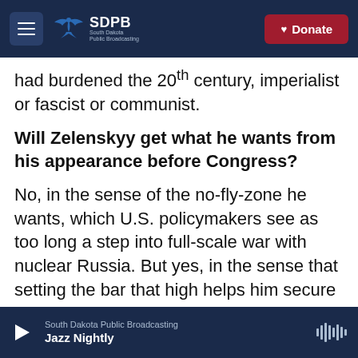SDPB South Dakota Public Broadcasting | Donate
had burdened the 20th century, imperialist or fascist or communist.
Will Zelenskyy get what he wants from his appearance before Congress?
No, in the sense of the no-fly-zone he wants, which U.S. policymakers see as too long a step into full-scale war with nuclear Russia. But yes, in the sense that setting the bar that high helps him secure more aid in other forms — such as the $1 billion in aid now being rushed to his country from the U.S. and another $13.6 billion that was marked for Ukraine in the latest omnibus appropriations bill
South Dakota Public Broadcasting | Jazz Nightly